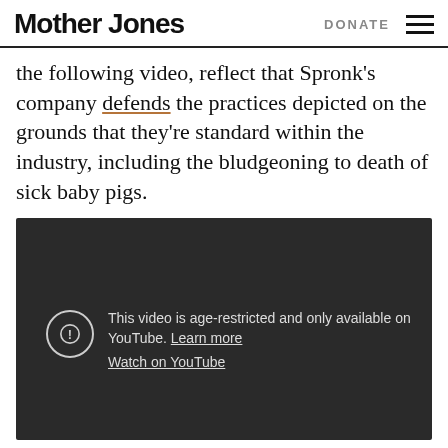Mother Jones | DONATE
the following video, reflect that Spronk's company defends the practices depicted on the grounds that they're standard within the industry, including the bludgeoning to death of sick baby pigs.
[Figure (screenshot): Embedded YouTube video player showing an age-restricted video. The player displays a dark background with a warning icon (circle with exclamation mark) and the text: 'This video is age-restricted and only available on YouTube. Learn more' and 'Watch on YouTube']